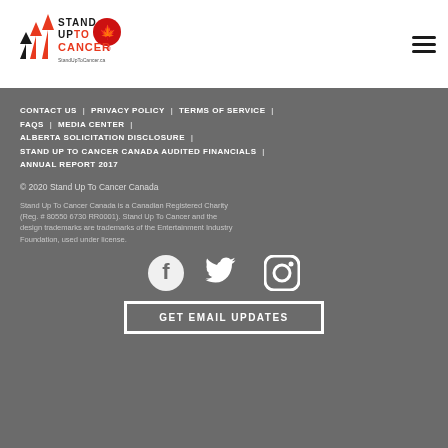[Figure (logo): Stand Up To Cancer Canada logo with orange/red arrows and maple leaf, text 'StandUpToCancer.ca']
[Figure (illustration): Hamburger menu icon (three horizontal lines)]
CONTACT US | PRIVACY POLICY | TERMS OF SERVICE | FAQS | MEDIA CENTER | ALBERTA SOLICITATION DISCLOSURE | STAND UP TO CANCER CANADA AUDITED FINANCIALS | ANNUAL REPORT 2017
© 2020 Stand Up To Cancer Canada
Stand Up To Cancer Canada is a Canadian Registered Charity (Reg. # 80550 6730 RR0001). Stand Up To Cancer and the design trademarks are trademarks of the Entertainment Industry Foundation, used under license.
[Figure (illustration): Social media icons: Facebook, Twitter, Instagram in white on grey background]
GET EMAIL UPDATES